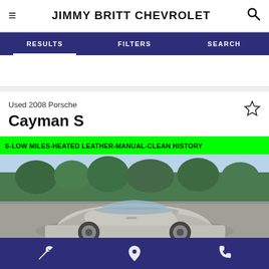JIMMY BRITT CHEVROLET
RESULTS | FILTERS | SEARCH
Used 2008 Porsche
Cayman S
S-LOW MILES-HEATED LEATHER-MANUAL-CLEAN HISTORY
[Figure (photo): Silver 2008 Porsche Cayman S parked in a lot with trees in the background]
Service | Location | Phone